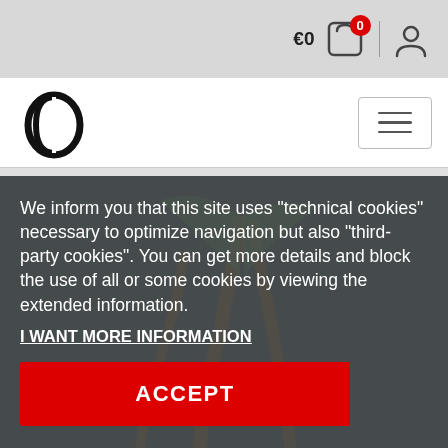€0  0
[Figure (logo): Oval/circle O letter brand logo in black, serif style]
We inform you that this site uses "technical cookies" necessary to optimize navigation but also "third-party cookies". You can get more details and block the use of all or some cookies by viewing the extended information.
I WANT MORE INFORMATION
ACCEPT